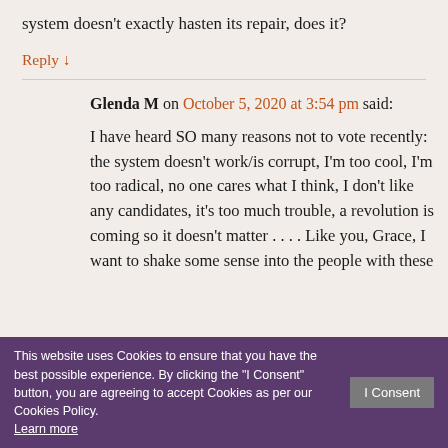system doesn't exactly hasten its repair, does it?
Reply ↓
Glenda M on October 5, 2020 at 3:54 pm said:
I have heard SO many reasons not to vote recently: the system doesn't work/is corrupt, I'm too cool, I'm too radical, no one cares what I think, I don't like any candidates, it's too much trouble, a revolution is coming so it doesn't matter . . . . Like you, Grace, I want to shake some sense into the people with these
This website uses Cookies to ensure that you have the best possible experience. By clicking the "I Consent" button, you are agreeing to accept Cookies as per our Cookies Policy. Learn more